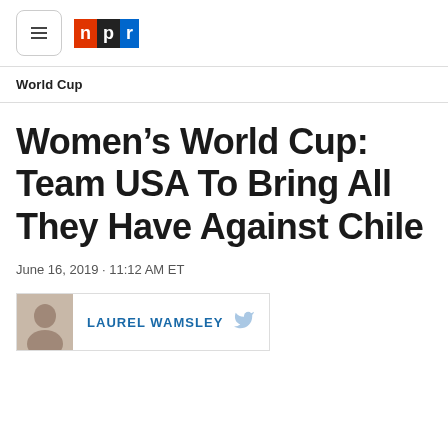NPR
World Cup
Women’s World Cup: Team USA To Bring All They Have Against Chile
June 16, 2019 · 11:12 AM ET
LAUREL WAMSLEY